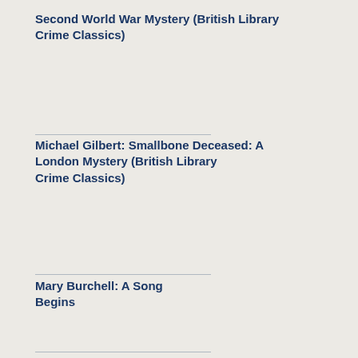Second World War Mystery (British Library Crime Classics)
Michael Gilbert: Smallbone Deceased: A London Mystery (British Library Crime Classics)
Mary Burchell: A Song Begins
Jenny Colgan: The Bookshop on the Shore
D. E. Stevenson: Summerhills (Ayrton Family Book 2)
D. E. Stevenson: Amberwell (Ayrton Family Book 1)